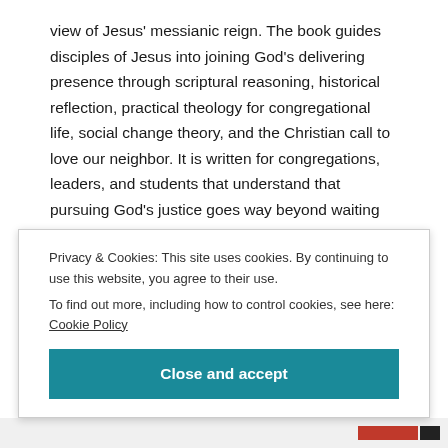view of Jesus' messianic reign. The book guides disciples of Jesus into joining God's delivering presence through scriptural reasoning, historical reflection, practical theology for congregational life, social change theory, and the Christian call to love our neighbor. It is written for congregations, leaders, and students that understand that pursuing God's justice goes way beyond waiting around for electoral seasons to come around. It is about the ongoing vocation of the Church right now, at the grassroots level, seeking after the
Privacy & Cookies: This site uses cookies. By continuing to use this website, you agree to their use.
To find out more, including how to control cookies, see here: Cookie Policy
Close and accept